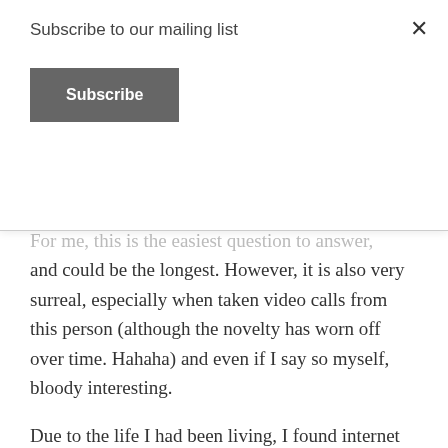Subscribe to our mailing list
Subscribe
For me, this is the easiest question to answer, and could be the longest. However, it is also very surreal, especially when taken video calls from this person (although the novelty has worn off over time. Hahaha) and even if I say so myself, bloody interesting.
Due to the life I had been living, I found internet access extremely difficult, and could say, also risky. So, social media, although aware of it, as a platform was new to me. As someone that hasn't exactly been a stickler